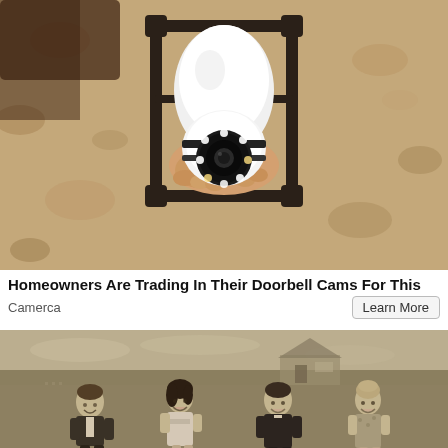[Figure (photo): Color photo of a white security camera/smart bulb camera being installed in a black outdoor lantern fixture mounted on a textured stucco wall. The camera has a circular lens with LED lights around it.]
Homeowners Are Trading In Their Doorbell Cams For This
Camerca
Learn More
[Figure (photo): Black and white vintage photo of two couples laughing and walking outdoors in a field, with a farmhouse visible in the background. The women wear 1940s-style dresses and the men wear suits.]